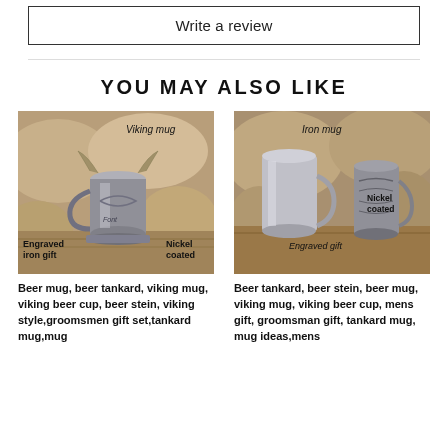Write a review
YOU MAY ALSO LIKE
[Figure (photo): Viking mug / beer tankard — nickel coated, engraved iron gift, shown against stone background. Labels: 'Viking mug' (top), 'Engraved iron gift' (bottom left), 'Nickel coated' (bottom right).]
Beer mug, beer tankard, viking mug, viking beer cup, beer stein, viking style,groomsmen gift set,tankard mug,mug
[Figure (photo): Iron mug / beer stein — nickel coated, engraved gift, two mugs shown against stone background. Labels: 'Iron mug' (top), 'Engraved gift' (bottom center), 'Nickel coated' (right side).]
Beer tankard, beer stein, beer mug, viking mug, viking beer cup, mens gift, groomsman gift, tankard mug, mug ideas,mens